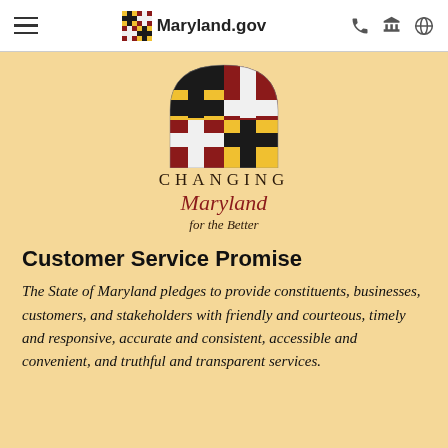Maryland.gov
[Figure (logo): Maryland state flag logo with arch shape. Quadrants: gold/black Maryland cross botony pattern, red/white. Below: CHANGING Maryland for the Better text.]
Customer Service Promise
The State of Maryland pledges to provide constituents, businesses, customers, and stakeholders with friendly and courteous, timely and responsive, accurate and consistent, accessible and convenient, and truthful and transparent services.